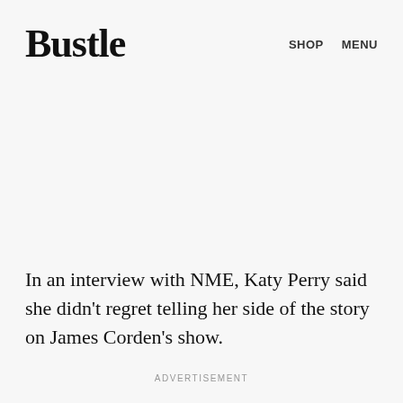Bustle   SHOP   MENU
In an interview with NME, Katy Perry said she didn't regret telling her side of the story on James Corden's show.
ADVERTISEMENT